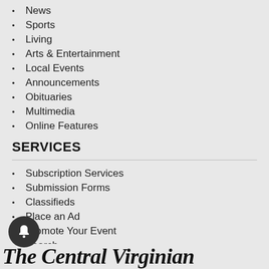News
Sports
Living
Arts & Entertainment
Local Events
Announcements
Obituaries
Multimedia
Online Features
SERVICES
Subscription Services
Submission Forms
Classifieds
Place an Ad
Promote Your Event
Search
Weather
hing Grant Program
The Central Virginian